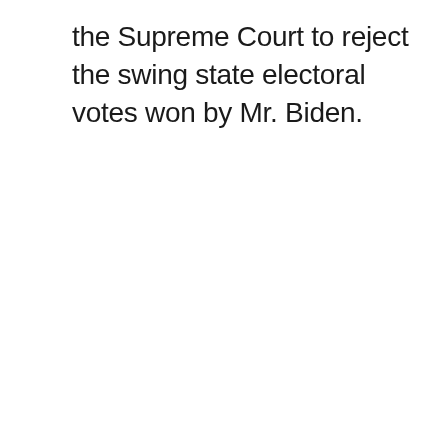the Supreme Court to reject the swing state electoral votes won by Mr. Biden.